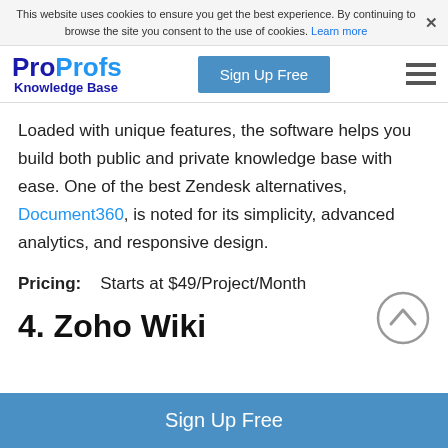This website uses cookies to ensure you get the best experience. By continuing to browse the site you consent to the use of cookies. Learn more
ProProfs Knowledge Base | Sign Up Free
Loaded with unique features, the software helps you build both public and private knowledge base with ease. One of the best Zendesk alternatives, Document360, is noted for its simplicity, advanced analytics, and responsive design.
Pricing:   Starts at $49/Project/Month
4. Zoho Wiki
Sign Up Free